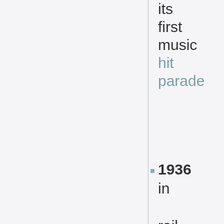its first music hit parade
1936 in rail transport
May 12 - The Atchison, Topeka and